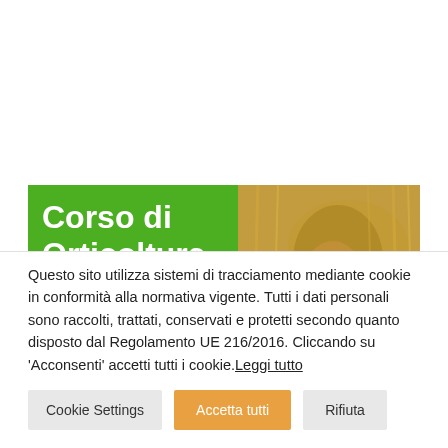[Figure (screenshot): Website banner showing 'Corso di Orticoltura Elementare' with a green background on the left side and a photo of a person with wheat/grain on the right side. The image is partially cropped at the bottom.]
Questo sito utilizza sistemi di tracciamento mediante cookie in conformità alla normativa vigente. Tutti i dati personali sono raccolti, trattati, conservati e protetti secondo quanto disposto dal Regolamento UE 216/2016. Cliccando su 'Acconsenti' accetti tutti i cookie. Leggi tutto
Cookie Settings
Accetta tutti
Rifiuta